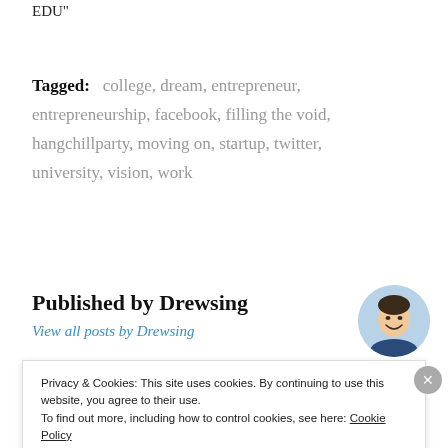EDU"
Tagged:   college,  dream,  entrepreneur,  entrepreneurship,  facebook,  filling the void,  hangchillparty,  moving on,  startup,  twitter,  university,  vision,  work
Published by Drewsing
View all posts by Drewsing
[Figure (photo): Circular avatar photo of a smiling Asian man against a light blue background]
Privacy & Cookies: This site uses cookies. By continuing to use this website, you agree to their use.
To find out more, including how to control cookies, see here: Cookie Policy
Close and accept